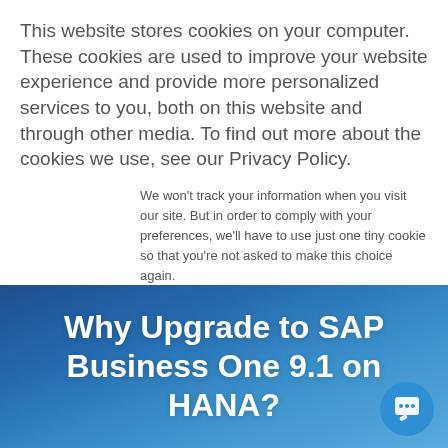This website stores cookies on your computer. These cookies are used to improve your website experience and provide more personalized services to you, both on this website and through other media. To find out more about the cookies we use, see our Privacy Policy.
We won't track your information when you visit our site. But in order to comply with your preferences, we'll have to use just one tiny cookie so that you're not asked to make this choice again.
Accept
Decline
Why Upgrade to SAP Business One 9.1 on HANA?